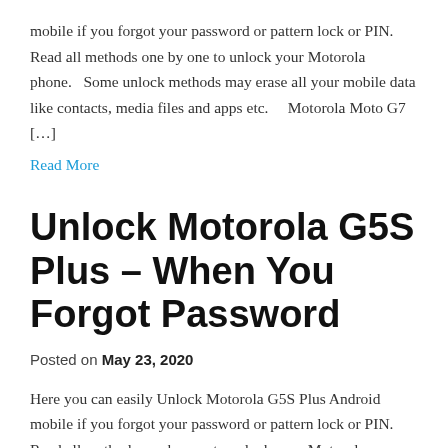mobile if you forgot your password or pattern lock or PIN. Read all methods one by one to unlock your Motorola phone.    Some unlock methods may erase all your mobile data like contacts, media files and apps etc.      Motorola Moto G7 […]
Read More
Unlock Motorola G5S Plus – When You Forgot Password
Posted on May 23, 2020
Here you can easily Unlock Motorola G5S Plus Android mobile if you forgot your password or pattern lock or PIN. Read all methods one by one to unlock your Motorola phone.    Some